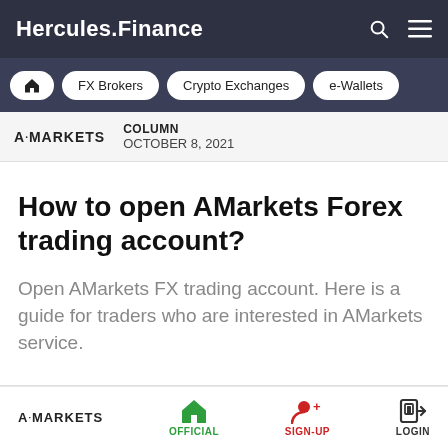Hercules.Finance
FX Brokers  Crypto Exchanges  e-Wallets
A·MARKETS  COLUMN  OCTOBER 8, 2021
How to open AMarkets Forex trading account?
Open AMarkets FX trading account. Here is a guide for traders who are interested in AMarkets service.
A·MARKETS  OFFICIAL  SIGN-UP  LOGIN